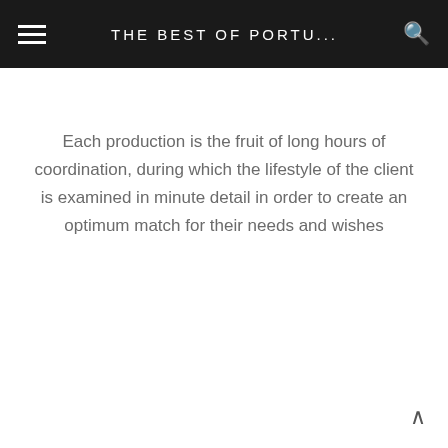THE BEST OF PORTU...
Each production is the fruit of long hours of coordination, during which the lifestyle of the client is examined in minute detail in order to create an optimum match for their needs and wishes